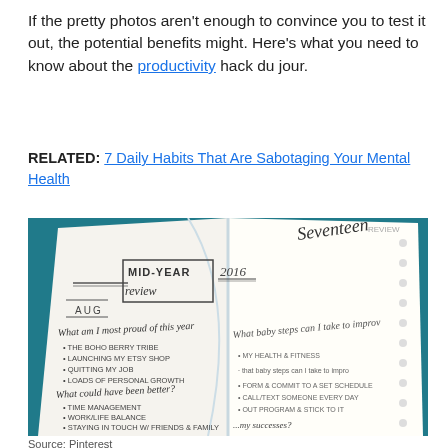If the pretty photos aren't enough to convince you to test it out, the potential benefits might. Here's what you need to know about the productivity hack du jour.
RELATED: 7 Daily Habits That Are Sabotaging Your Mental Health
[Figure (photo): A bullet journal open to a mid-year review page for 2016, showing handwritten entries for 'What am I most proud of this year', listing The Boho Berry Tribe, Launching my Etsy shop, Quitting my job, Loads of personal growth. Also shows 'What could have been better?' with Time management, Work/life balance, Staying in touch with friends & family, My health & fitness. And 'What baby steps can I take to improve?' with entries about setting a schedule and calling/texting someone every day. The journal is on a teal background.]
Source: Pinterest